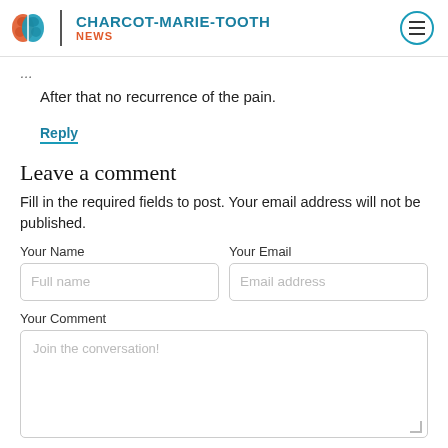CHARCOT-MARIE-TOOTH NEWS
After that no recurrence of the pain.
Reply
Leave a comment
Fill in the required fields to post. Your email address will not be published.
Your Name | Your Email
Your Comment